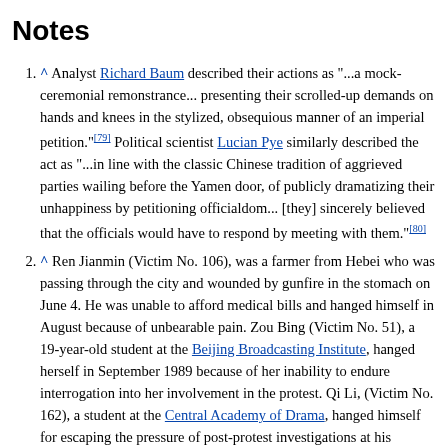Notes
^ Analyst Richard Baum described their actions as "...a mock-ceremonial remonstrance... presenting their scrolled-up demands on hands and knees in the stylized, obsequious manner of an imperial petition."[79] Political scientist Lucian Pye similarly described the act as "...in line with the classic Chinese tradition of aggrieved parties wailing before the Yamen door, of publicly dramatizing their unhappiness by petitioning officialdom... [they] sincerely believed that the officials would have to respond by meeting with them."[80]
^ Ren Jianmin (Victim No. 106), was a farmer from Hebei who was passing through the city and wounded by gunfire in the stomach on June 4. He was unable to afford medical bills and hanged himself in August because of unbearable pain. Zou Bing (Victim No. 51), a 19-year-old student at the Beijing Broadcasting Institute, hanged herself in September 1989 because of her inability to endure interrogation into her involvement in the protest. Qi Li, (Victim No. 162), a student at the Central Academy of Drama, hanged himself for escaping the pressure of post-protest investigations at his school. Wei Wumin (Victim No. 163), also a student at the Central Academy of Drama, who participated in the hunger strike, committed suicide by swallowing a front of...